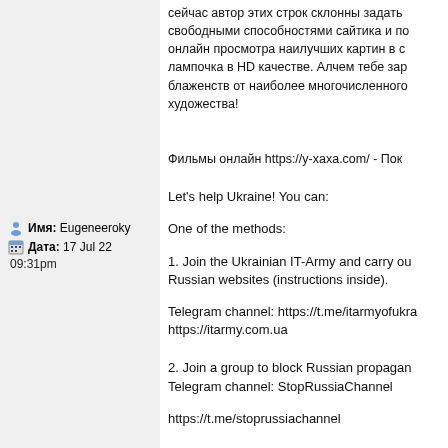сейчас автор этих строк склонны задать свободными способностями сайтика и по онлайн просмотра наилучших картин в с лампочка в HD качестве. Алчем тебе зар блаженств от наиболее многочисленного художества!
Фильмы онлайн https://y-xaxa.com/ - Пок
Имя: Eugeneeroky
Дата: 17 Jul 22 09:31pm
Let's help Ukraine! You can:
One of the methods:
1. Join the Ukrainian IT-Army and carry ou Russian websites (instructions inside).
Telegram channel: https://t.me/itarmyofukra https://itarmy.com.ua
2. Join a group to block Russian propagan Telegram channel: StopRussiaChannel
https://t.me/stoprussiachannel